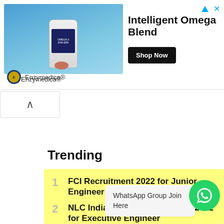[Figure (infographic): Advertisement banner for Enzymedica Intelligent Omega Blend supplement with product image, Shop Now button, and brand logo]
Enzymedica®
[Figure (other): Collapse/minimize chevron up button]
Trending
FCI Recruitment 2022 for Junior Engineer – 63…
NLC India Limited Recruitment 2022 for Executive Engineer
WhatsApp Group Join Here